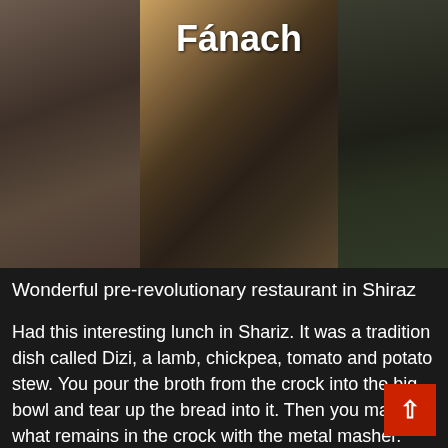[Figure (photo): Three restaurant interior photos side by side with 'Fánach' title overlaid in white bold text on the center image. Left photo shows curtained window area, center shows dark table tops with light streaming, right shows green lit floor area.]
Wonderful pre-revolutionary restaurant in Shiraz
Had this interesting lunch in Shariz. It was a tradition dish called Dizi, a lamb, chickpea, tomato and potato stew. You pour the broth from the crock into the big bowl and tear up the bread into it. Then you mash what remains in the crock with the metal masher. You take a spoon of the broth and bread mix together with a scoop of the mash from the crock and gobble it up or down. It came with the tiniest limes I have ever seem. They w incredibly good., like taste bombs, good enoug... wear as aftershave